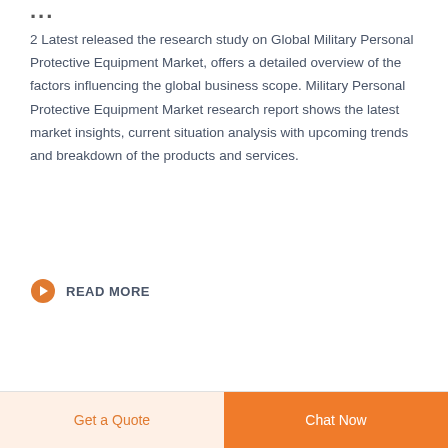2 Latest released the research study on Global Military Personal Protective Equipment Market, offers a detailed overview of the factors influencing the global business scope. Military Personal Protective Equipment Market research report shows the latest market insights, current situation analysis with upcoming trends and breakdown of the products and services.
READ MORE
Get a Quote
Chat Now